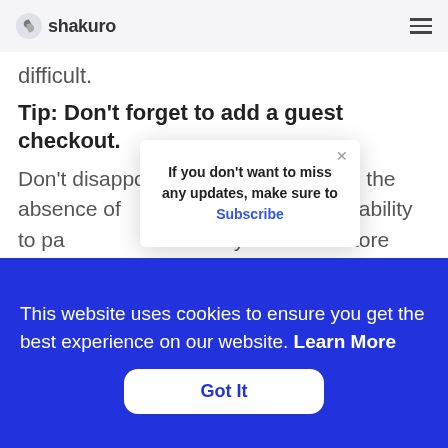shakuro
difficult.
Tip: Don't forget to add a guest checkout.
Don't disappoint your customers with the absence of [popup overlay] lue the ability to pa[y without registration] n to your online store[.] payment integration, $1,000+
Cost: $300[...] payment integration, $1,000+
[Figure (screenshot): Subscribe popup overlay with text 'If you don't want to miss any updates, make sure to Subscribe' and a close X button]
This website uses cookies to ensure you get the best experience on our website. Learn More
Got It